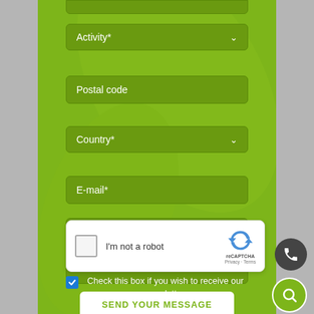[Figure (screenshot): Mobile web form screenshot with green background showing form fields: Activity* dropdown, Postal code input, Country* dropdown, E-mail* input, Message textarea, reCAPTCHA widget, newsletter checkbox, and SEND YOUR MESSAGE button. Phone and search floating action buttons on the right.]